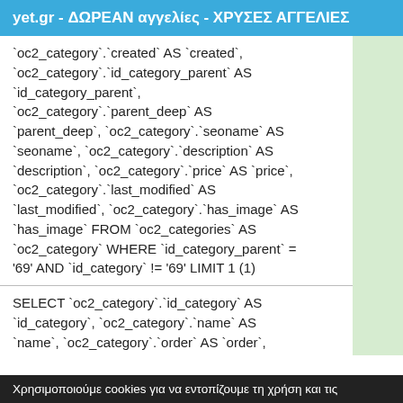yet.gr - ΔΩΡΕΑΝ αγγελίες - ΧΡΥΣΕΣ ΑΓΓΕΛΙΕΣ
`oc2_category`.`created` AS `created`, `oc2_category`.`id_category_parent` AS `id_category_parent`, `oc2_category`.`parent_deep` AS `parent_deep`, `oc2_category`.`seoname` AS `seoname`, `oc2_category`.`description` AS `description`, `oc2_category`.`price` AS `price`, `oc2_category`.`last_modified` AS `last_modified`, `oc2_category`.`has_image` AS `has_image` FROM `oc2_categories` AS `oc2_category` WHERE `id_category_parent` = '69' AND `id_category` != '69' LIMIT 1 (1)
SELECT `oc2_category`.`id_category` AS `id_category`, `oc2_category`.`name` AS `name`, `oc2_category`.`order` AS `order`, `oc2_category`.`created` AS `created`,
Χρησιμοποιούμε cookies για να εντοπίζουμε τη χρήση και τις